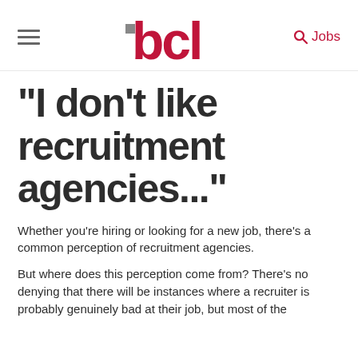[Figure (logo): BCL Legal Recruitment logo — stylized red 'bcl' lettering with a small grey square, and 'legal recruitment' in grey below]
"I don't like recruitment agencies..."
Whether you’re hiring or looking for a new job, there’s a common perception of recruitment agencies.
But where does this perception come from? There’s no denying that there will be instances where a recruiter is probably genuinely bad at their job, but most of the